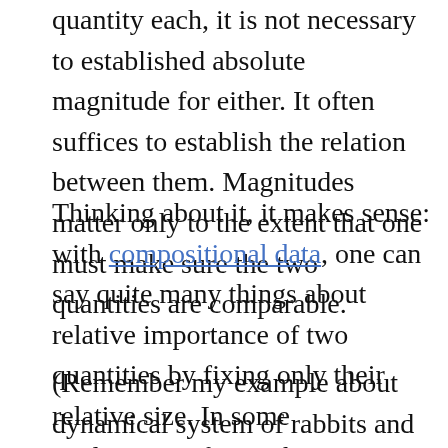quantity each, it is not necessary to established absolute magnitude for either. It often suffices to establish the relation between them. Magnitudes matter only to the extent that one must make sure the two quantities are comparable.
Thinking about it, it makes sense: with compositional data, one can say quite many things about relative importance of two quantities by fixing only their relative size. In some applications, fixing the magnitude of the quantities requires.
(Remember my example about dynamical system of rabbits and lynxes? One does not need to count all the rabbits and lynxes in the ecosystem, usually one tries to